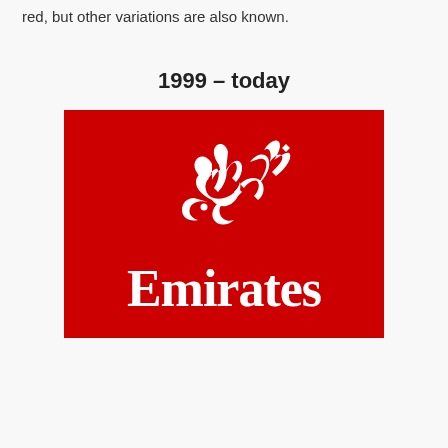red, but other variations are also known.
1999 – today
[Figure (logo): Emirates airline logo: red rectangular background with white Arabic calligraphy at top and white 'Emirates' serif text at bottom]